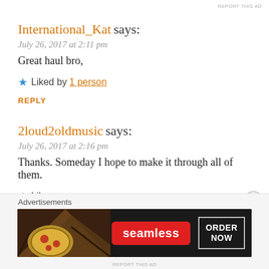REPORT THIS AD
International_Kat says:
July 26, 2017 at 2:11 pm
Great haul bro,
★ Liked by 1 person
REPLY
2loud2oldmusic says:
July 26, 2017 at 2:16 pm
Thanks. Someday I hope to make it through all of them.
★ Like
REPLY
Advertisements
[Figure (screenshot): Seamless food delivery advertisement banner with pizza image, Seamless logo in red, and ORDER NOW button]